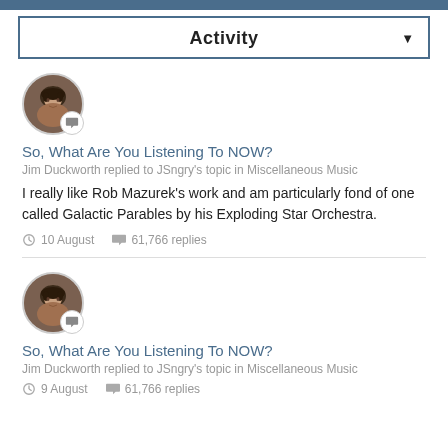Activity
[Figure (photo): Avatar photo of Jim Duckworth with comment badge icon]
So, What Are You Listening To NOW?
Jim Duckworth replied to JSngry's topic in Miscellaneous Music
I really like Rob Mazurek's work and am particularly fond of one called Galactic Parables by his Exploding Star Orchestra.
10 August   61,766 replies
[Figure (photo): Avatar photo of Jim Duckworth with comment badge icon]
So, What Are You Listening To NOW?
Jim Duckworth replied to JSngry's topic in Miscellaneous Music
9 August   61,766 replies